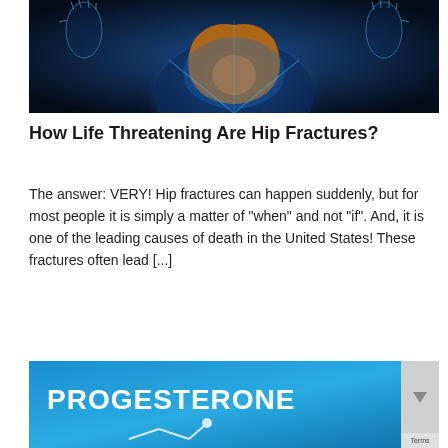[Figure (illustration): Medical illustration of a hip joint shown with X-ray/anatomical visualization on a dark blue background, with skeletal hands visible on either side]
How Life Threatening Are Hip Fractures?
The answer: VERY! Hip fractures can happen suddenly, but for most people it is simply a matter of "when" and not "if". And, it is one of the leading causes of death in the United States! These fractures often lead [...]
[Figure (illustration): Blue banner image with white bold text reading PROGESTERONE with a molecular structure graphic below]